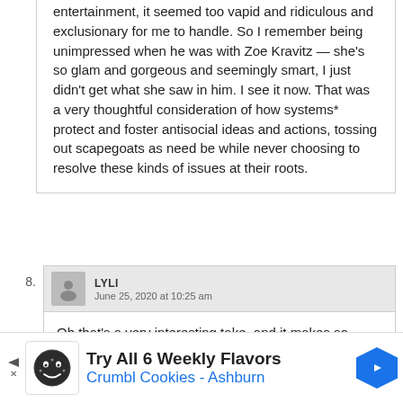entertainment, it seemed too vapid and ridiculous and exclusionary for me to handle. So I remember being unimpressed when he was with Zoe Kravitz — she's so glam and gorgeous and seemingly smart, I just didn't get what she saw in him. I see it now. That was a very thoughtful consideration of how systems* protect and foster antisocial ideas and actions, tossing out scapegoats as need be while never choosing to resolve these kinds of issues at their roots.
LYLI
June 25, 2020 at 10:25 am
Oh that's a very interesting take, and it makes so much sense.
[Figure (infographic): Advertisement banner for Crumbl Cookies - Ashburn with logo showing a cartoon cookie face, navigation arrow icon, and text 'Try All 6 Weekly Flavors / Crumbl Cookies - Ashburn']